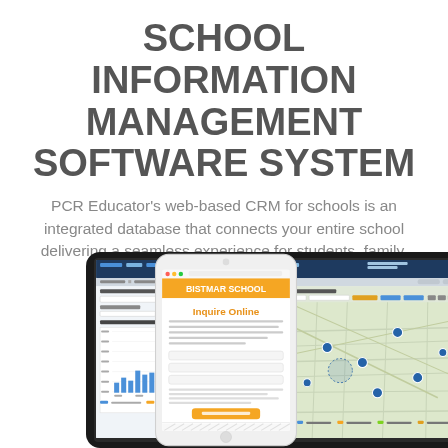SCHOOL INFORMATION MANAGEMENT SOFTWARE SYSTEM
PCR Educator's web-based CRM for schools is an integrated database that connects your entire school delivering a seamless experience for students, family, and staff.
[Figure (screenshot): A tablet and smartphone showing PCR Educator school information management software interface, including a bar chart dashboard and a geographic map view with applicant data, and a mobile school inquiry page for Bistmar School.]